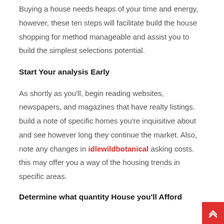Buying a house needs heaps of your time and energy, however, these ten steps will facilitate build the house shopping for method manageable and assist you to build the simplest selections potential.
Start Your analysis Early
As shortly as you'll, begin reading websites, newspapers, and magazines that have realty listings. build a note of specific homes you're inquisitive about and see however long they continue the market. Also, note any changes in idlewildbotanical asking costs. this may offer you a way of the housing trends in specific areas.
Determine what quantity House you'll Afford